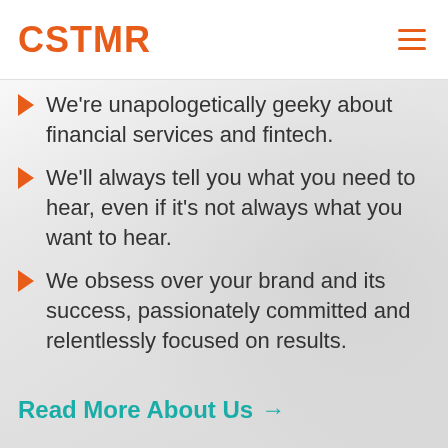CSTMR
We're unapologetically geeky about financial services and fintech.
We'll always tell you what you need to hear, even if it's not always what you want to hear.
We obsess over your brand and its success, passionately committed and relentlessly focused on results.
Read More About Us →